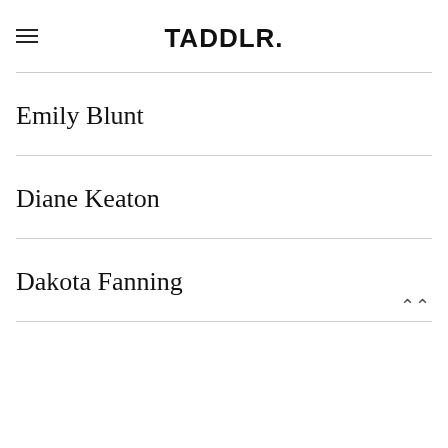TADDLR.
Emily Blunt
Diane Keaton
Dakota Fanning